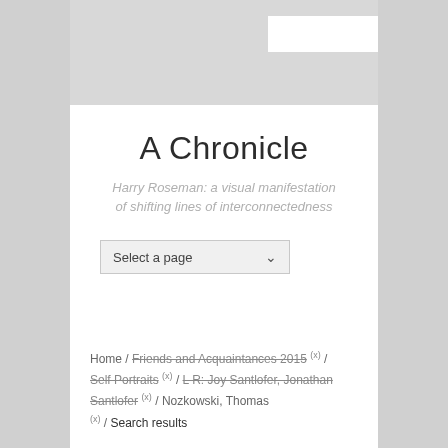A Chronicle
Harry Roseman: a visual manifestation of shifting lines of interconnectedness
Select a page
Home / Friends and Acquaintances 2015 (x) / Self Portraits (x) / L R: Joy Santlofer, Jonathan Santlofer (x) / Nozkowski, Thomas (x) / Search results